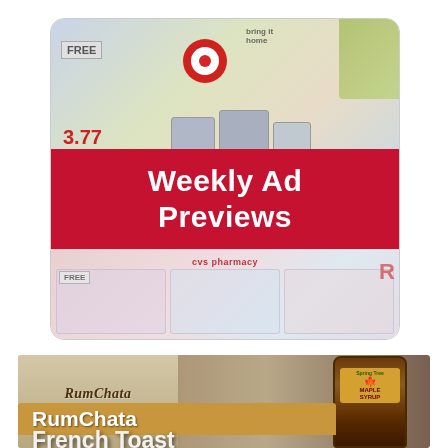[Figure (illustration): Weekly Ad Previews promotional graphic showing a collage of retail store advertisements (Target, CVS pharmacy) with a red banner overlay reading 'Weekly Ad Previews' in white bold text, with appliance images including a pressure cooker and air fryer]
[Figure (photo): RumChata French Toast recipe/article thumbnail image showing the RumChata cream liqueur logo on the left, a golden banner with 'RumChata French Toast' text overlaid on a sandy/marble background, and a maple syrup bottle on the right]